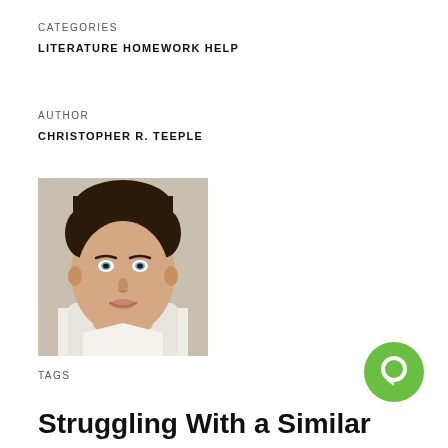CATEGORIES
LITERATURE HOMEWORK HELP
AUTHOR
CHRISTOPHER R. TEEPLE
[Figure (photo): Headshot photo of a young man with dark hair wearing a white shirt, looking at the camera against a light background.]
TAGS
Struggling With a Similar